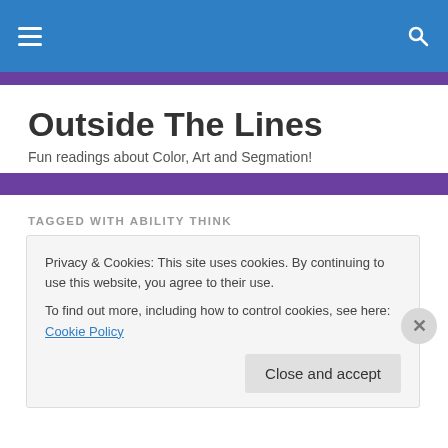Outside The Lines – navigation bar with hamburger menu and search icon
Outside The Lines
Fun readings about Color, Art and Segmation!
TAGGED WITH ABILITY THINK
Art and Science – A Genius Combination
Privacy & Cookies: This site uses cookies. By continuing to use this website, you agree to their use. To find out more, including how to control cookies, see here: Cookie Policy
Close and accept